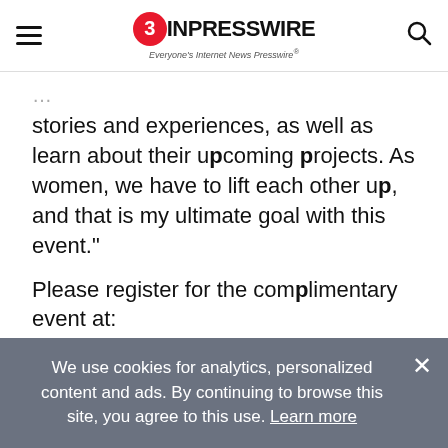EIN Presswire - Everyone's Internet News Presswire
stories and experiences, as well as learn about their upcoming projects. As women, we have to lift each other up, and that is my ultimate goal with this event."
Please register for the complimentary event at: https://www.eventbrite.com/e/women-filmmakers-showcase-registration-290117036867
The panelists include:
We use cookies for analytics, personalized content and ads. By continuing to browse this site, you agree to this use. Learn more